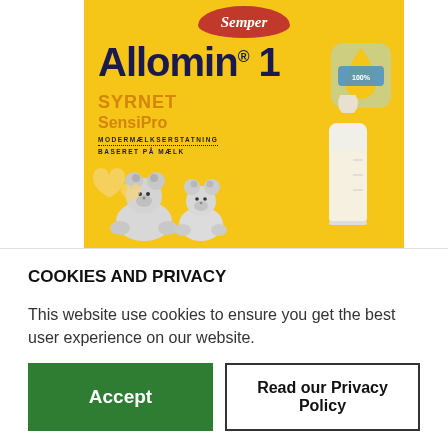[Figure (photo): Semper Allomin 1 Syrnet SensiPro baby formula product box. Yellow packaging with Semper logo in red at top, large dark blue text reading 'Allomin 1', orange text 'SYRNET SensiPro', small text 'MODERMÆLKSERSTATNING BASERET PÅ MÆLK', a baby bottle with yellow cap, two white teddy bears, and a blue water drop icon on yellow background.]
COOKIES AND PRIVACY
This website use cookies to ensure you get the best user experience on our website.
Accept
Read our Privacy Policy